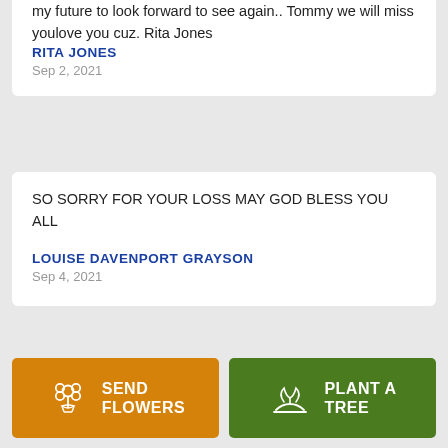my future to look forward to see again.. Tommy we will miss youlove you cuz. Rita Jones
RITA JONES
Sep 2, 2021
SO SORRY FOR YOUR LOSS MAY GOD BLESS YOU ALL
LOUISE DAVENPORT GRAYSON
Sep 4, 2021
SEND FLOWERS
PLANT A TREE